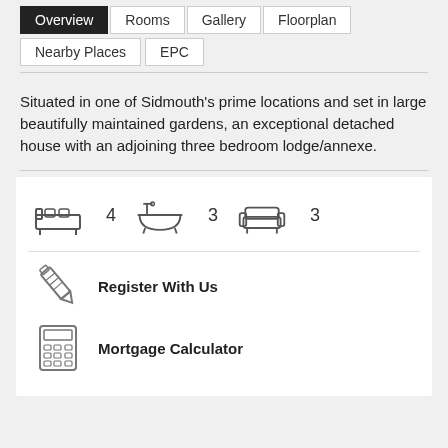Overview
Rooms
Gallery
Floorplan
Nearby Places
EPC
Situated in one of Sidmouth's prime locations and set in large beautifully maintained gardens, an exceptional detached house with an adjoining three bedroom lodge/annexe.
[Figure (infographic): Property icons: bed (4), bath (3), sofa/reception (3)]
Register With Us
Mortgage Calculator